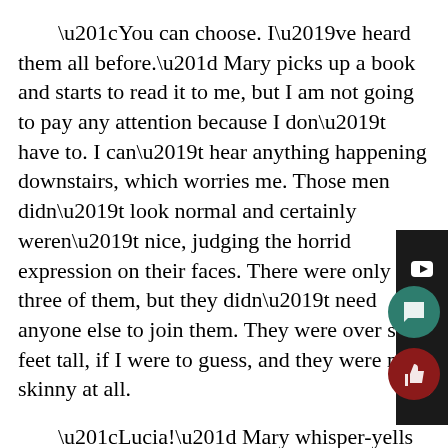“You can choose. I’ve heard them all before.” Mary picks up a book and starts to read it to me, but I am not going to pay any attention because I don’t have to. I can’t hear anything happening downstairs, which worries me. Those men didn’t look normal and certainly weren’t nice, judging the horrid expression on their faces. There were only three of them, but they didn’t need anyone else to join them. They were over six feet tall, if I were to guess, and they were not skinny at all.
“Lucia!” Mary whisper-yells at me, “Did you hear what I said?” Nope.
“Sorry, no. I am finding it hard to pay attention because those men were so scary and I am so worried about my family.” Ha. If I am overly nice to her, then maybe she’ll think I like her, even thou…